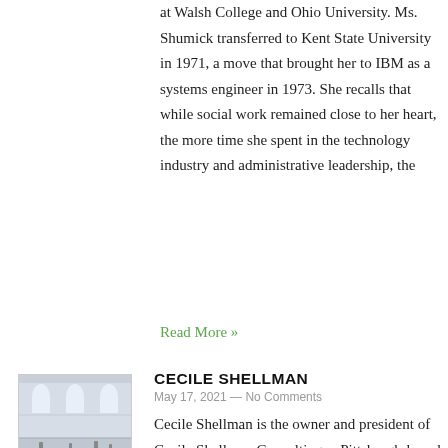at Walsh College and Ohio University. Ms. Shumick transferred to Kent State University in 1971, a move that brought her to IBM as a systems engineer in 1973. She recalls that while social work remained close to her heart, the more time she spent in the technology industry and administrative leadership, the
Read More »
[Figure (photo): Interior photo of a large museum or public hall with arched windows and visitors on the floor below]
CECILE SHELLMAN
May 17, 2021 — No Comments
Cecile Shellman is the owner and president of Cecile Shellman Consulting, a Pittsburgh-based private consulting